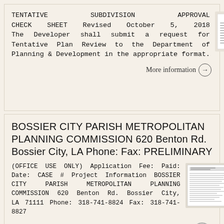TENTATIVE SUBDIVISION APPROVAL CHECK SHEET Revised October 5, 2018 The Developer shall submit a request for Tentative Plan Review to the Department of Planning & Development in the appropriate format.
[Figure (screenshot): Thumbnail image of a government form document]
More information →
BOSSIER CITY PARISH METROPOLITAN PLANNING COMMISSION 620 Benton Rd. Bossier City, LA Phone: Fax: PRELIMINARY
(OFFICE USE ONLY) Application Fee: Paid: Date: CASE # Project Information BOSSIER CITY PARISH METROPOLITAN PLANNING COMMISSION 620 Benton Rd. Bossier City, LA 71111 Phone: 318-741-8824 Fax: 318-741-8827
[Figure (screenshot): Thumbnail image of a government planning commission form]
More information →